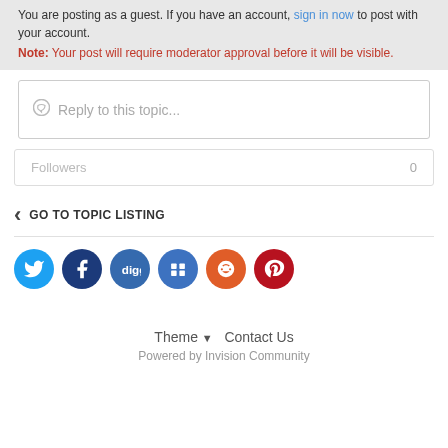You are posting as a guest. If you have an account, sign in now to post with your account.
Note: Your post will require moderator approval before it will be visible.
Reply to this topic...
Followers  0
GO TO TOPIC LISTING
[Figure (infographic): Social media share icons: Twitter (cyan), Facebook (dark blue), Digg (blue-gray), Delicious (blue), Reddit (orange), Pinterest (red)]
Theme ▼  Contact Us
Powered by Invision Community